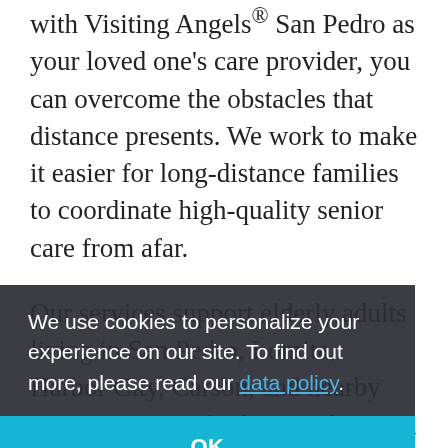with Visiting Angels® San Pedro as your loved one's care provider, you can overcome the obstacles that distance presents. We work to make it easier for long-distance families to coordinate high-quality senior care from afar.
Our services support elderly adults living in San Pedro, Lomita, Harbor City, Carson, and nearby communities. Whether you live in a different city or state, you can rely on us to help you set up care that instills you with confidence.
Assistance: Long-Distance Elder Care in San Pedro
We use cookies to personalize your experience on our site. To find out more, please read our data policy.
OK
As it's relatively common for Americans to move